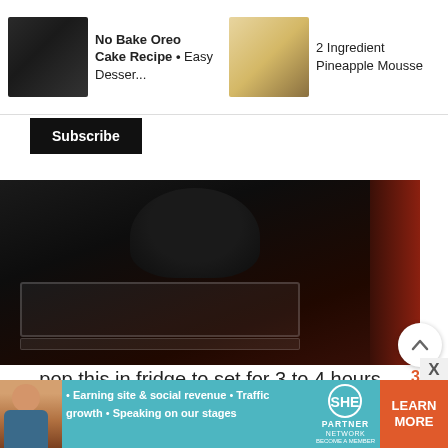[Figure (screenshot): Navigation bar with three recipe thumbnails: No Bake Oreo Cake Recipe • Easy Desser..., 2 Ingredient Pineapple Mousse, Chocolate Mousse Cake Recipe]
No Bake Oreo Cake Recipe • Easy Desser...
2 Ingredient Pineapple Mousse
Chocolate Mousse Cake Recipe
Subscribe
[Figure (photo): Dark photo of a dish or pan being placed in a refrigerator, shown from inside fridge perspective]
pop this in fridge to set for 3 to 4 hours
38
[Figure (photo): Bottom portion of a baking dish with chocolate mousse or similar dark dessert, partially visible]
X
[Figure (infographic): SHE Partner Network advertisement banner with bullet points: Earning site & social revenue, Traffic growth, Speaking on our stages. LEARN MORE button.]